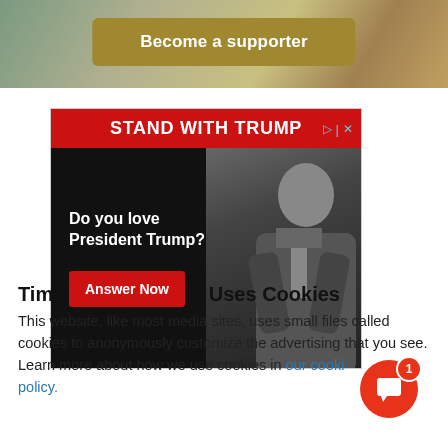[Figure (screenshot): Top banner with landscape background photo and gold 'Become a supporter' button]
[Figure (screenshot): Political advertisement: 'STAND WITH TRUMP' red header, black background with text 'Do you love President Trump?' and red 'Answer Now' button, with black-and-white photo of a person in a suit]
Times of San Diego Uses Cookies
This website, like most media sites, uses small files called cookies to anonymously customize the advertising that you see. Learn more about how we use cookies in our cookie policy.